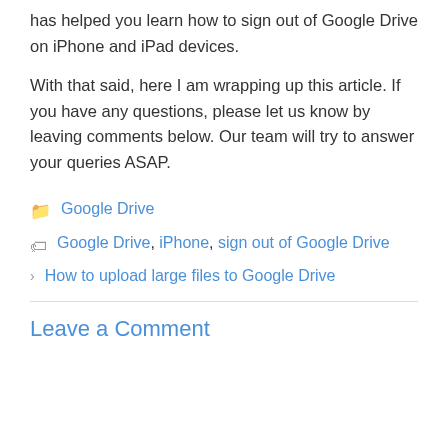has helped you learn how to sign out of Google Drive on iPhone and iPad devices.
With that said, here I am wrapping up this article. If you have any questions, please let us know by leaving comments below. Our team will try to answer your queries ASAP.
Google Drive
Google Drive, iPhone, sign out of Google Drive
How to upload large files to Google Drive
Leave a Comment